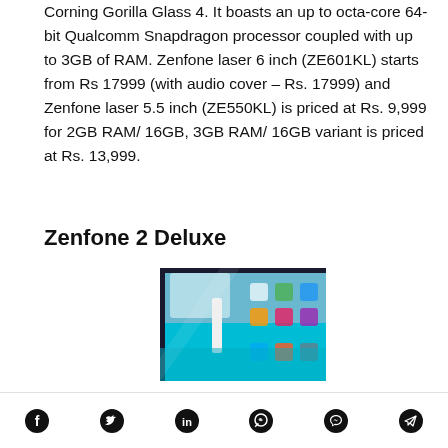Corning Gorilla Glass 4. It boasts an up to octa-core 64-bit Qualcomm Snapdragon processor coupled with up to 3GB of RAM. Zenfone laser 6 inch (ZE601KL) starts from Rs 17999 (with audio cover – Rs. 17999) and Zenfone laser 5.5 inch (ZE550KL) is priced at Rs. 9,999 for 2GB RAM/ 16GB, 3GB RAM/ 16GB variant is priced at Rs. 13,999.
Zenfone 2 Deluxe
[Figure (photo): Photo of Zenfone 2 Deluxe smartphone showing its screen with blue/teal background and app icons]
Social share icons: Facebook, Twitter, LinkedIn, WhatsApp, Messenger, Telegram